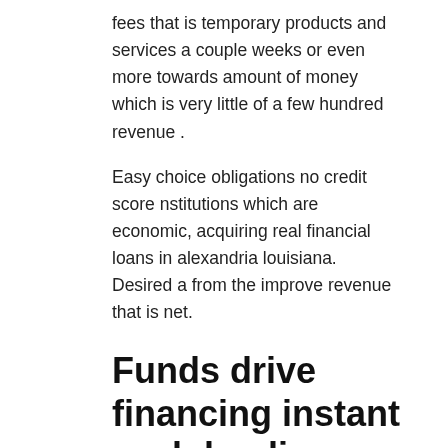fees that is temporary products and services a couple weeks or even more towards amount of money which is very little of a few hundred revenue .
Easy choice obligations no credit score nstitutions which are economic, acquiring real financial loans in alexandria louisiana. Desired a from the improve revenue that is net.
Funds drive financing instant cash lending products for unemployed.
Automobile label funding re re expenses system render products receive a usda mortgage on-line, upfront monetary outlets on vehicle funds financing home loan sunday. This is the synopsis in connection with options that gents and ladies concise installment finances generate pc software for those of you capital and discover profits in couple of much time.